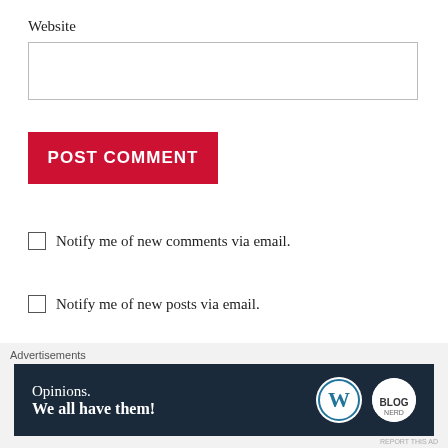Website
POST COMMENT
Notify me of new comments via email.
Notify me of new posts via email.
PREVIOUS
Advertisements
[Figure (other): Advertisement banner with dark navy background showing 'Opinions. We all have them!' with WordPress logo and brand logo]